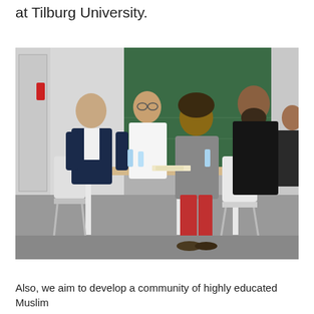at Tilburg University.
[Figure (photo): Five people seated around a white table in a university classroom setting with a green chalkboard in the background, engaged in discussion. One man in a navy suit, one in white shirt with glasses, one with curly hair in a grey jacket and red trousers, one wearing all black, and another person partially visible.]
Also, we aim to develop a community of highly educated Muslim